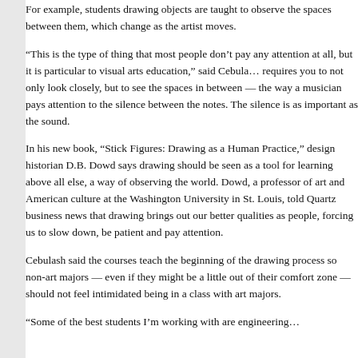For example, students drawing objects are taught to observe the spaces between them, which change as the artist moves.
“This is the type of thing that most people don’t pay any attention at all, but it is particular to visual arts education,” said Cebula… requires you to not only look closely, but to see the spaces in between — the way a musician pays attention to the silence between the notes. The silence is as important as the sound.
In his new book, “Stick Figures: Drawing as a Human Practice,” design historian D.B. Dowd says drawing should be seen as a tool for learning above all else, a way of observing the world. Dowd, a professor of art and American culture at the Washington University in St. Louis, told Quartz business news that drawing brings out our better qualities as people, forcing us to slow down, be patient and pay attention.
Cebulash said the courses teach the beginning of the drawing process so non-art majors — even if they might be a little out of their comfort zone — should not feel intimidated being in a class with art majors.
“Some of the best students I’m working with are engineering…